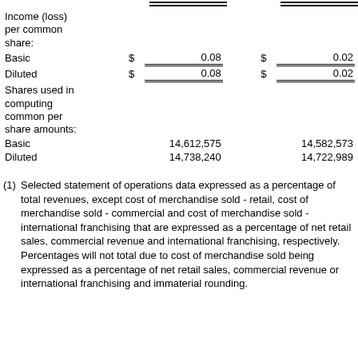|  |  |  |  |  |
| --- | --- | --- | --- | --- |
| Income (loss) per common share: |  |  |  |  |
| Basic | $ | 0.08 | $ | 0.02 |
| Diluted | $ | 0.08 | $ | 0.02 |
| Shares used in computing common per share amounts: |  |  |  |  |
| Basic |  | 14,612,575 |  | 14,582,573 |
| Diluted |  | 14,738,240 |  | 14,722,989 |
(1) Selected statement of operations data expressed as a percentage of total revenues, except cost of merchandise sold - retail, cost of merchandise sold - commercial and cost of merchandise sold - international franchising that are expressed as a percentage of net retail sales, commercial revenue and international franchising, respectively. Percentages will not total due to cost of merchandise sold being expressed as a percentage of net retail sales, commercial revenue or international franchising and immaterial rounding.